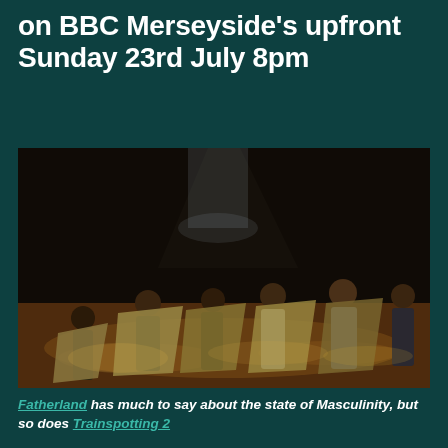on BBC Merseyside's upfront Sunday 23rd July 8pm
[Figure (photo): Stage performance photo showing several performers in dramatic poses holding open coats/blankets under theatrical lighting on a textured stage floor]
Fatherland has much to say about the state of Masculinity, but so does Trainspotting 2